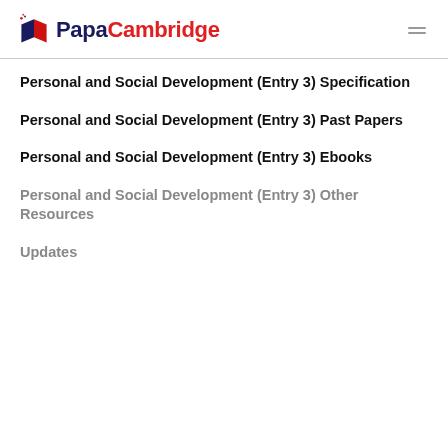PapaCambridge
Personal and Social Development (Entry 3) Specification
Personal and Social Development (Entry 3) Past Papers
Personal and Social Development (Entry 3) Ebooks
Personal and Social Development (Entry 3) Other Resources
Updates